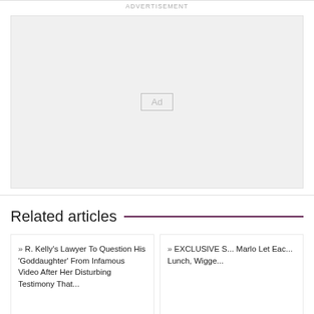ADVERTISEMENT
[Figure (other): Advertisement placeholder box with 'Ad' label centered inside a gray rectangle]
Related articles
» R. Kelly's Lawyer To Question His 'Goddaughter' From Infamous Video After Her Disturbing Testimony That...
» EXCLUSIVE S... Marlo Let Eac... Lunch, Wigge...